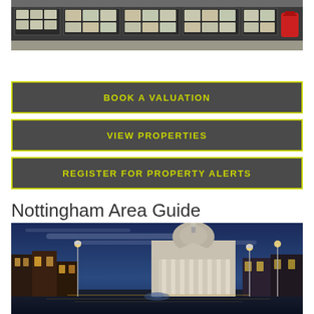[Figure (photo): Street-level photo of an estate agent shop front with property listings displayed in windows, red post box visible on right]
BOOK A VALUATION
VIEW PROPERTIES
REGISTER FOR PROPERTY ALERTS
Nottingham Area Guide
[Figure (photo): Evening/twilight photo of Nottingham city centre showing the Council House dome and Market Square with illuminated buildings]